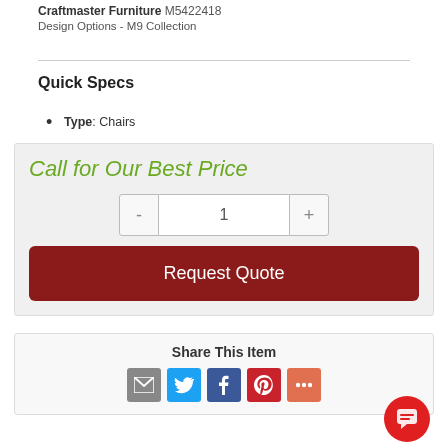Craftmaster Furniture M5422418 Design Options - M9 Collection
Quick Specs
Type: Chairs
Call for Our Best Price
Request Quote
Share This Item